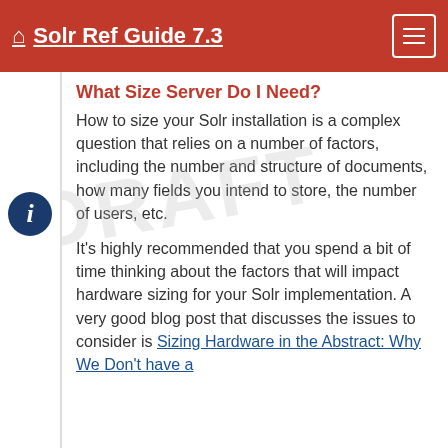Solr Ref Guide 7.3
What Size Server Do I Need?
How to size your Solr installation is a complex question that relies on a number of factors, including the number and structure of documents, how many fields you intend to store, the number of users, etc.
It's highly recommended that you spend a bit of time thinking about the factors that will impact hardware sizing for your Solr implementation. A very good blog post that discusses the issues to consider is Sizing Hardware in the Abstract: Why We Don't have a